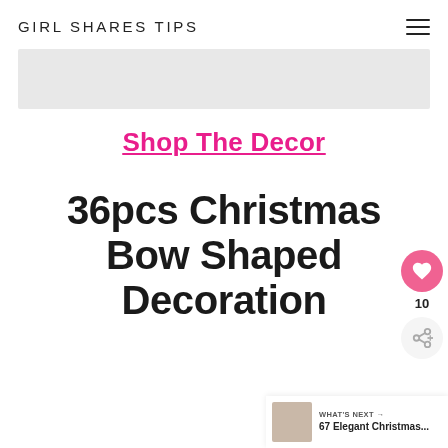GIRL SHARES TIPS
[Figure (other): Gray advertisement banner placeholder]
Shop The Decor
36pcs Christmas Bow Shaped Decoration
[Figure (other): WHAT'S NEXT sidebar with thumbnail and text: 67 Elegant Christmas...]